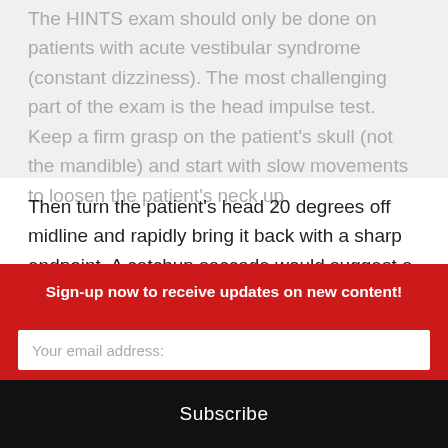The HINTS exam should only be done on patients with acute vestibular syndrome (constant dizziness). The most challenging part of the exam is the head impulse test. Keep a firm grasp on the patient's skull (not the mandible) and start with slow movements to loosen the patient's neck up. Then turn the patient's head 20 degrees off midline and rapidly bring it back with a sharp endpoint. A catchup saccade would suggest a peripheral cause.
Vestibular migraines are the second most common cause of vertigo but the diagnosis is rarely made in the ED. Patients can be dizzy for as little as a few minutes but
Sign-up now to receive updates on new content!
Your email address:
Subscribe